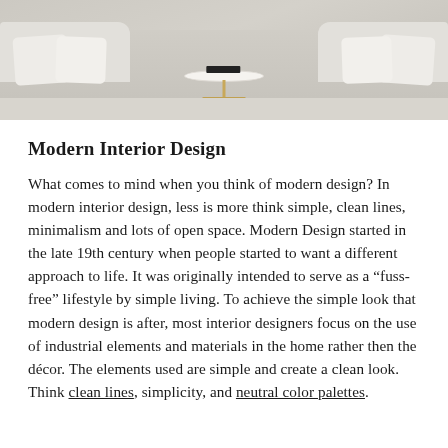[Figure (photo): A bright, neutral-toned modern living room interior with white/light grey sofas, plush pillows, a round white marble coffee table with a gold metal frame, and a dark book on top. The overall palette is very light and airy.]
Modern Interior Design
What comes to mind when you think of modern design? In modern interior design, less is more think simple, clean lines, minimalism and lots of open space. Modern Design started in the late 19th century when people started to want a different approach to life. It was originally intended to serve as a “fuss-free” lifestyle by simple living. To achieve the simple look that modern design is after, most interior designers focus on the use of industrial elements and materials in the home rather then the décor. The elements used are simple and create a clean look. Think clean lines, simplicity, and neutral color palettes.